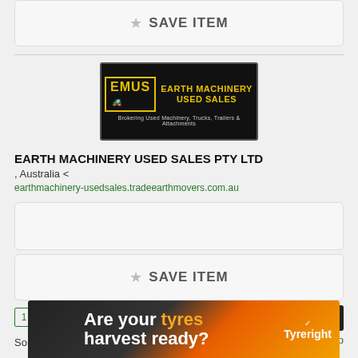SAVE ITEM
[Figure (logo): EMUS Earth Machinery Used Sales logo — black background with yellow bordered box containing 'EMUS' text and machinery icon, and 'Earth Machinery Used Sales' in yellow text with tagline 'Brokering Used Machinery, Trucks, Trailers & Attachments']
EARTH MACHINERY USED SALES PTY LTD
, Australia <
earthmachinery-usedsales.tradeearthmovers.com.au
SAVE ITEM
1 2 3 4
40 result(s)
Sort by D
map
[Figure (screenshot): Advertisement banner: 'Are your tyres harvest ready?' with Tyreright branding on orange/dark background]